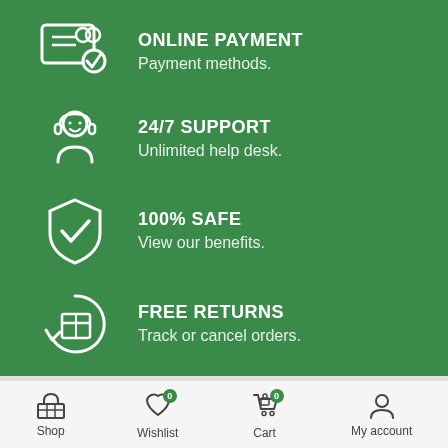[Figure (infographic): Four feature rows on green background with white icons and text: ONLINE PAYMENT / Payment methods., 24/7 SUPPORT / Unlimited help desk., 100% SAFE / View our benefits., FREE RETURNS / Track or cancel orders.]
[Figure (infographic): Bottom navigation bar with Shop, Wishlist (badge 0), Cart (badge 0), My account icons]